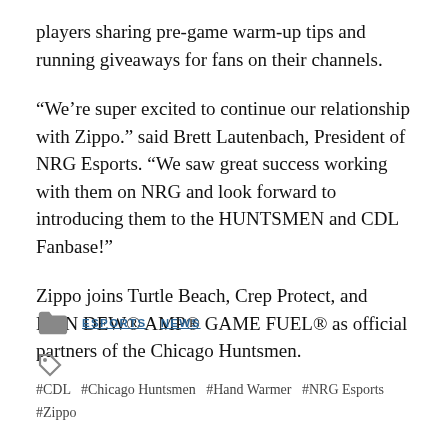players sharing pre-game warm-up tips and running giveaways for fans on their channels.
“We’re super excited to continue our relationship with Zippo.” said Brett Lautenbach, President of NRG Esports. “We saw great success working with them on NRG and look forward to introducing them to the HUNTSMEN and CDL Fanbase!”
Zippo joins Turtle Beach, Crep Protect, and MTN DEW® AMP® GAME FUEL® as official partners of the Chicago Huntsmen.
ESPORTS  NEWS
#CDL  #Chicago Huntsmen  #Hand Warmer  #NRG Esports  #Zippo